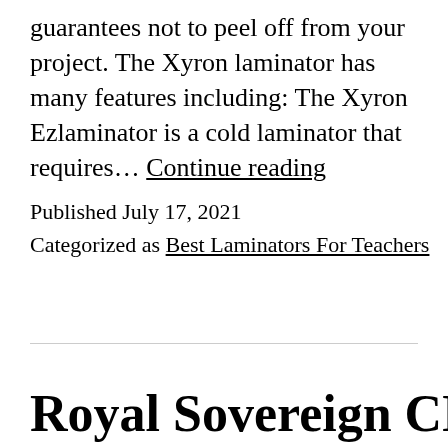guarantees not to peel off from your project. The Xyron laminator has many features including: The Xyron Ezlaminator is a cold laminator that requires… Continue reading
Published July 17, 2021
Categorized as Best Laminators For Teachers
Royal Sovereign CL-1223